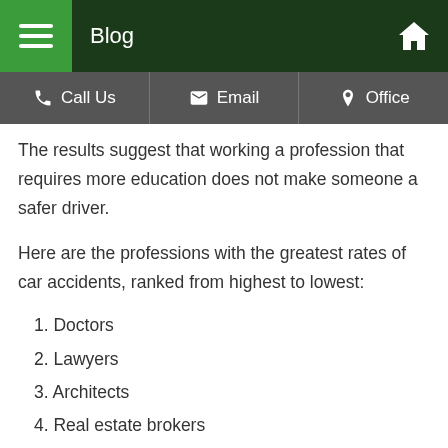Blog
The results suggest that working a profession that requires more education does not make someone a safer driver.
Here are the professions with the greatest rates of car accidents, ranked from highest to lowest:
1. Doctors
2. Lawyers
3. Architects
4. Real estate brokers
5. Enlisted military personnel
6. Social workers